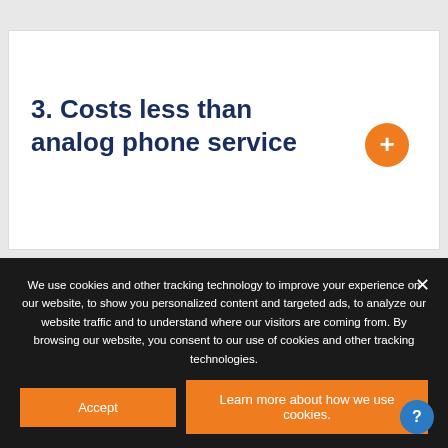3. Costs less than analog phone service
We use cookies and other tracking technology to improve your experience on our website, to show you personalized content and targeted ads, to analyze our website traffic and to understand where our visitors are coming from. By browsing our website, you consent to our use of cookies and other tracking technologies.
Accept
Learn more about how we use cookies.